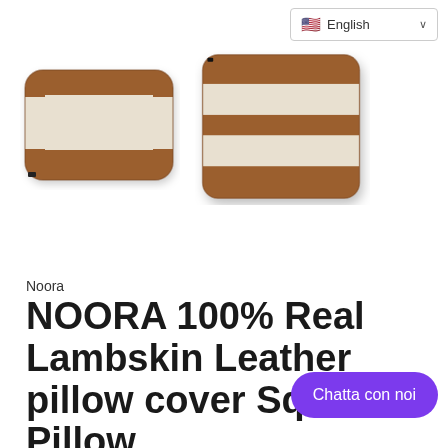🇺🇸 English ∨
[Figure (photo): Two decorative square pillows with brown leather and cream/beige stripe pattern. Left pillow is shown horizontally oriented; right pillow is larger and shown at a slight angle.]
Noora
NOORA 100% Real Lambskin Leather pillow cover Square Pillow Housewarming, Home &